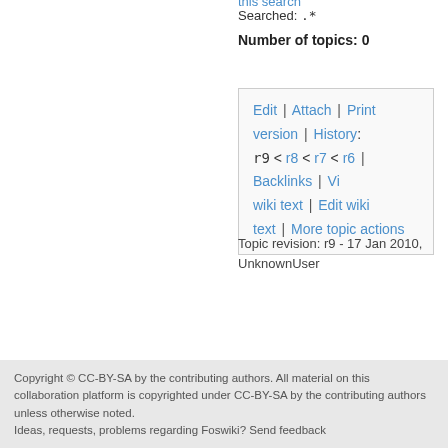this search
Searched: .*
Number of topics: 0
Edit | Attach | Print version | History: r9 < r8 < r7 < r6 | Backlinks | Vi wiki text | Edit wiki text | More topic actions
Topic revision: r9 - 17 Jan 2010, UnknownUser
Copyright © CC-BY-SA by the contributing authors. All material on this collaboration platform is copyrighted under CC-BY-SA by the contributing authors unless otherwise noted. Ideas, requests, problems regarding Foswiki? Send feedback